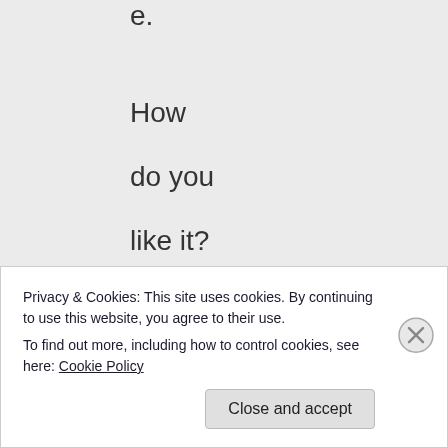e.

How
do you
like it?

Do
you
feel
domin
ated
by
me?
Privacy & Cookies: This site uses cookies. By continuing to use this website, you agree to their use.
To find out more, including how to control cookies, see here: Cookie Policy
Close and accept